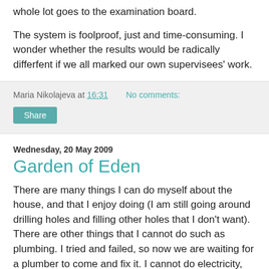whole lot goes to the examination board.
The system is foolproof, just and time-consuming. I wonder whether the results would be radically differfent if we all marked our own supervisees' work.
Maria Nikolajeva at 16:31   No comments:
Share
Wednesday, 20 May 2009
Garden of Eden
There are many things I can do myself about the house, and that I enjoy doing (I am still going around drilling holes and filling other holes that I don't want). There are other things that I cannot do such as plumbing. I tried and failed, so now we are waiting for a plumber to come and fix it. I cannot do electricity, and although Staffan has performed miracles with English plugs neither of us dares putting up ceiling lamps, so we are waiting for an electrician to come and do that. We are